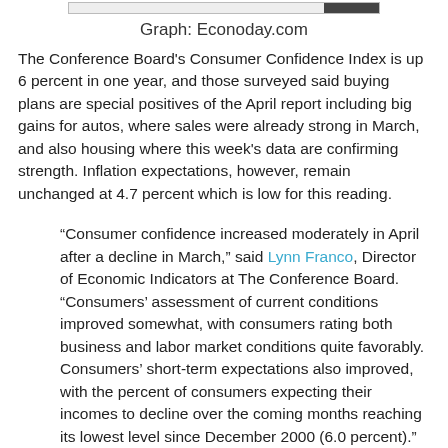[Figure (other): Partial top edge of a chart image, showing a border with a dark label area at the top right]
Graph: Econoday.com
The Conference Board's Consumer Confidence Index is up 6 percent in one year, and those surveyed said buying plans are special positives of the April report including big gains for autos, where sales were already strong in March, and also housing where this week's data are confirming strength. Inflation expectations, however, remain unchanged at 4.7 percent which is low for this reading.
“Consumer confidence increased moderately in April after a decline in March,” said Lynn Franco, Director of Economic Indicators at The Conference Board. “Consumers’ assessment of current conditions improved somewhat, with consumers rating both business and labor market conditions quite favorably. Consumers’ short-term expectations also improved, with the percent of consumers expecting their incomes to decline over the coming months reaching its lowest level since December 2000 (6.0 percent).”